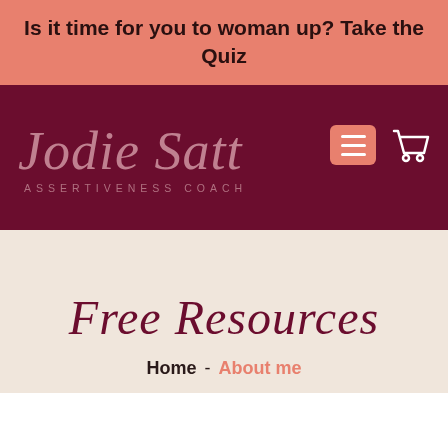Is it time for you to woman up? Take the Quiz
[Figure (logo): Jodie Satt Assertiveness Coach logo in script font on dark maroon background with hamburger menu and cart icon]
Free Resources
Home  -  About me